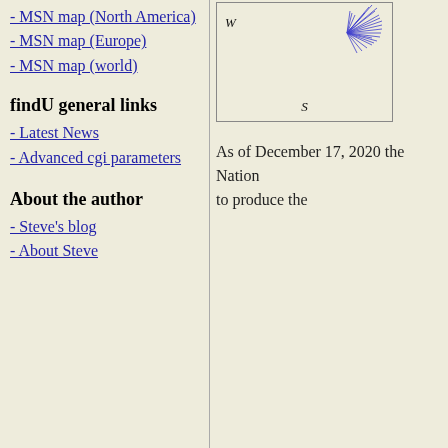- MSN map (North America)
- MSN map (Europe)
- MSN map (world)
findU general links
- Latest News
- Advanced cgi parameters
About the author
- Steve's blog
- About Steve
[Figure (other): Wind rose diagram showing wind directions with lines radiating mostly toward the northeast. Cardinal directions W and S are labeled.]
As of December 17, 2020 the Nation to produce the